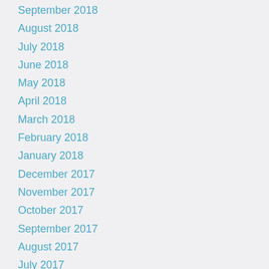September 2018
August 2018
July 2018
June 2018
May 2018
April 2018
March 2018
February 2018
January 2018
December 2017
November 2017
October 2017
September 2017
August 2017
July 2017
June 2017
May 2017
April 2017
March 2017
February 2017
January 2017
December 2016
November 2016